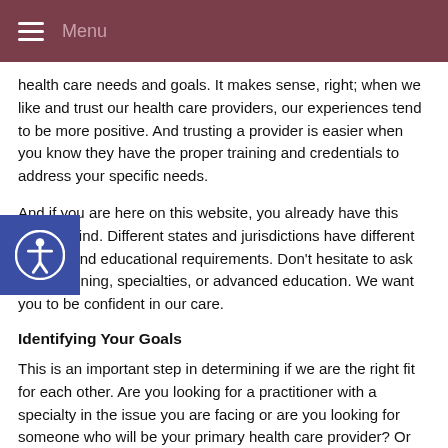Menu
health care needs and goals. It makes sense, right; when we like and trust our health care providers, our experiences tend to be more positive. And trusting a provider is easier when you know they have the proper training and credentials to address your specific needs.
And if you are here on this website, you already have this goal in mind. Different states and jurisdictions have different training and educational requirements. Don't hesitate to ask about training, specialties, or advanced education. We want you to be confident in our care.
Identifying Your Goals
This is an important step in determining if we are the right fit for each other. Are you looking for a practitioner with a specialty in the issue you are facing or are you looking for someone who will be your primary health care provider? Or are you looking for someone who will work closely with your current MD? Just as we do a health intake with new patients, don't be afraid to ask about training, education